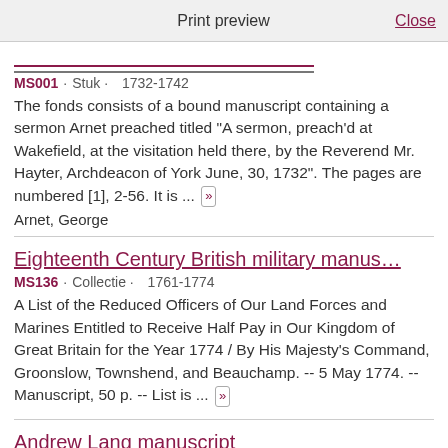Print preview   Close
[partial title link - truncated at top]
MS001 · Stuk · 1732-1742
The fonds consists of a bound manuscript containing a sermon Arnet preached titled "A sermon, preach'd at Wakefield, at the visitation held there, by the Reverend Mr. Hayter, Archdeacon of York June, 30, 1732". The pages are numbered [1], 2-56. It is ... »
Arnet, George
Eighteenth Century British military manus…
MS136 · Collectie · 1761-1774
A List of the Reduced Officers of Our Land Forces and Marines Entitled to Receive Half Pay in Our Kingdom of Great Britain for the Year 1774 / By His Majesty's Command, Groonslow, Townshend, and Beauchamp. -- 5 May 1774. -- Manuscript, 50 p. -- List is ... »
Andrew Lang manuscript